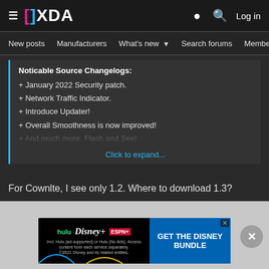[Figure (screenshot): XDA Developers forum website screenshot showing header with logo, navigation bar, a quoted changelog post, and a Disney Bundle advertisement]
XDA — Log in
New posts  Manufacturers  What's new  Search forums  Membe  >
Noticable Source Changelogs:
+ January 2022 Security patch.
+ Network Traffic Indicator.
+ Introduce Updater!
+ Overall Smoothness is now improved!
+ And much more. Flash and See!
Click to expand...
For Cownlte, I see only 1.2. Where to download 1.3?
[Figure (screenshot): Disney Bundle advertisement banner showing Hulu, Disney+, ESPN+ logos with 'GET THE DISNEY BUNDLE' call to action]